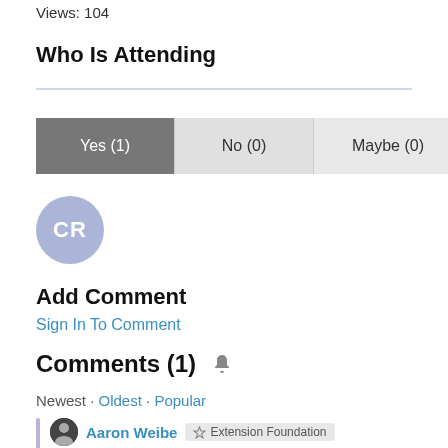Views: 104
Who Is Attending
[Figure (other): RSVP button group with Yes (1), No (0), Maybe (0)]
[Figure (other): Avatar circle with initials CR]
Add Comment
Sign In To Comment
Comments (1)
Newest · Oldest · Popular
Aaron Weibe  Extension Foundation
Automated message: Thanks for sharing this